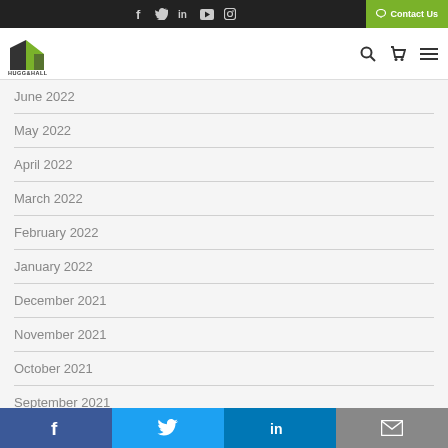f  in  ▶  ⊙  Contact Us
[Figure (logo): Hugg & Hall logo — stylized building icon with green and dark segments, company name below]
June 2022
May 2022
April 2022
March 2022
February 2022
January 2022
December 2021
November 2021
October 2021
September 2021
August 2021
f  Twitter  in  Email